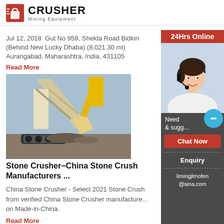[Figure (logo): Crusher Mining Equipment logo with red shopping bag icon and bold CRUSHER text]
Jul 12, 2018  Gut No 959, Shekta Road Bidkin (Behind New Lucky Dhaba) (8,021.30 mi) Aurangabad, Maharashtra, India, 431105
Read More
[Figure (photo): Large yellow and white stone crusher machine on construction site]
Stone Crusher-China Stone Crusher Manufacturers ...
China Stone Crusher - Select 2021 Stone Crusher from verified China Stone Crusher manufacturers on Made-in-China.
Read More
[Figure (photo): Partial view of another stone crusher machine at bottom]
[Figure (infographic): Right sidebar with 24Hrs Online bar, customer service agent photo, Need & suggestions text, Chat Now button, Enquiry section, limingjlmofen@sina.com email, and floating chat bubble]